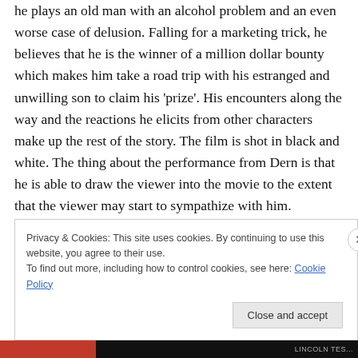he plays an old man with an alcohol problem and an even worse case of delusion. Falling for a marketing trick, he believes that he is the winner of a million dollar bounty which makes him take a road trip with his estranged and unwilling son to claim his 'prize'. His encounters along the way and the reactions he elicits from other characters make up the rest of the story. The film is shot in black and white. The thing about the performance from Dern is that he is able to draw the viewer into the movie to the extent that the viewer may start to sympathize with him. Needless to say, the film is a Bruce Dern show all the way.
Privacy & Cookies: This site uses cookies. By continuing to use this website, you agree to their use.
To find out more, including how to control cookies, see here: Cookie Policy
Close and accept